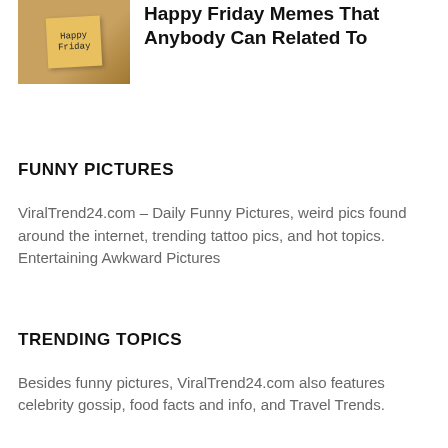[Figure (photo): Sticky notes on a surface with 'Happy Friday' written on them]
Happy Friday Memes That Anybody Can Related To
FUNNY PICTURES
ViralTrend24.com – Daily Funny Pictures, weird pics found around the internet, trending tattoo pics, and hot topics. Entertaining Awkward Pictures
TRENDING TOPICS
Besides funny pictures, ViralTrend24.com also features celebrity gossip, food facts and info, and Travel Trends.
TOP NEWS